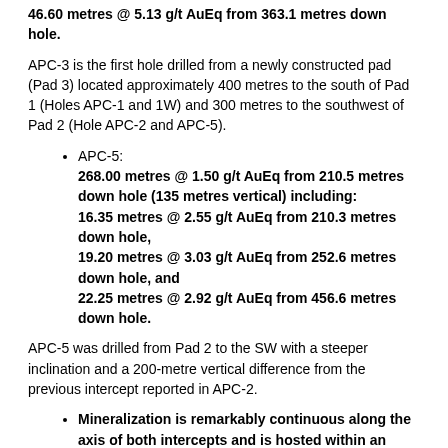46.60 metres @ 5.13 g/t AuEq from 363.1 metres down hole.
APC-3 is the first hole drilled from a newly constructed pad (Pad 3) located approximately 400 metres to the south of Pad 1 (Holes APC-1 and 1W) and 300 metres to the southwest of Pad 2 (Hole APC-2 and APC-5).
APC-5: 268.00 metres @ 1.50 g/t AuEq from 210.5 metres down hole (135 metres vertical) including: 16.35 metres @ 2.55 g/t AuEq from 210.3 metres down hole, 19.20 metres @ 3.03 g/t AuEq from 252.6 metres down hole, and 22.25 metres @ 2.92 g/t AuEq from 456.6 metres down hole.
APC-5 was drilled from Pad 2 to the SW with a steeper inclination and a 200-metre vertical difference from the previous intercept reported in APC-2.
Mineralization is remarkably continuous along the axis of both intercepts and is hosted within an angular breccia with a sulphide matrix consisting of chalcopyrite